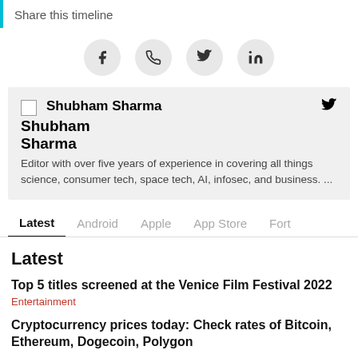Share this timeline
[Figure (infographic): Four social share buttons in circles: Facebook (f), WhatsApp (phone icon), Twitter (bird), LinkedIn (in)]
Shubham Sharma [Twitter icon]
Shubham Sharma
Editor with over five years of experience in covering all things science, consumer tech, space tech, AI, infosec, and business. ...
Latest | Android | Apple | App Store | Fort
Latest
Top 5 titles screened at the Venice Film Festival 2022
Entertainment
Cryptocurrency prices today: Check rates of Bitcoin, Ethereum, Dogecoin, Polygon